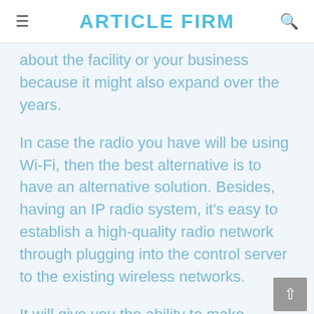ARTICLE FIRM
about the facility or your business because it might also expand over the years.
In case the radio you have will be using Wi-Fi, then the best alternative is to have an alternative solution. Besides, having an IP radio system, it's easy to establish a high-quality radio network through plugging into the control server to the existing wireless networks.
It will give you the ability to make individual and group calls with the use of these